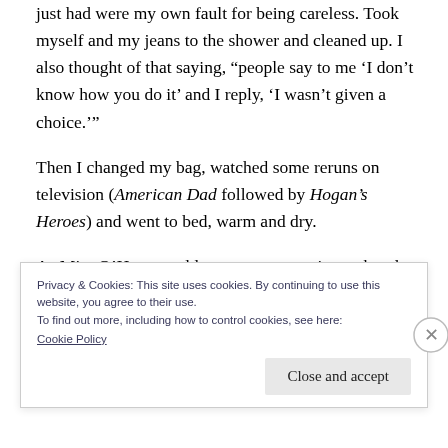just had were my own fault for being careless. Took myself and my jeans to the shower and cleaned up. I also thought of that saying, “people say to me ‘I don’t know how you do it’ and I reply, ‘I wasn’t given a choice.’”
Then I changed my bag, watched some reruns on television (American Dad followed by Hogan’s Heroes) and went to bed, warm and dry.
As Miss O’Hara would say – tomorrow is another day.
Privacy & Cookies: This site uses cookies. By continuing to use this website, you agree to their use.
To find out more, including how to control cookies, see here:
Cookie Policy